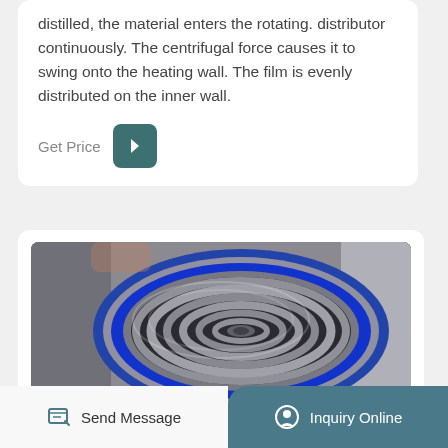distilled, the material enters the rotating. distributor continuously. The centrifugal force causes it to swing onto the heating wall. The film is evenly distributed on the inner wall.
Get Price
[Figure (photo): Front view of an industrial centrifugal thin-film evaporator drum, showing a circular stainless steel rotating distributor with concentric ridges, surrounded by a blue gasket ring, viewed from the front opening.]
TOP
Send Message
Inquiry Online